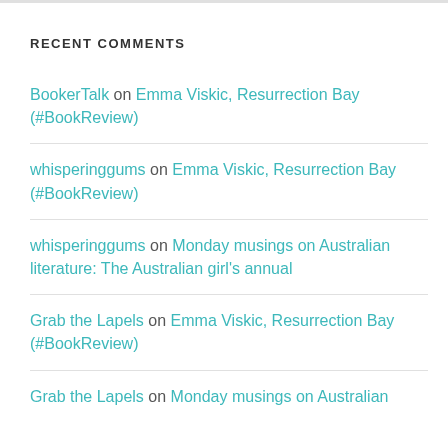RECENT COMMENTS
BookerTalk on Emma Viskic, Resurrection Bay (#BookReview)
whisperinggums on Emma Viskic, Resurrection Bay (#BookReview)
whisperinggums on Monday musings on Australian literature: The Australian girl's annual
Grab the Lapels on Emma Viskic, Resurrection Bay (#BookReview)
Grab the Lapels on Monday musings on Australian